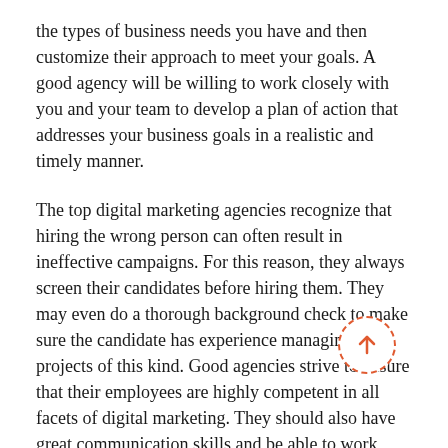the types of business needs you have and then customize their approach to meet your goals. A good agency will be willing to work closely with you and your team to develop a plan of action that addresses your business goals in a realistic and timely manner.
The top digital marketing agencies recognize that hiring the wrong person can often result in ineffective campaigns. For this reason, they always screen their candidates before hiring them. They may even do a thorough background check to make sure the candidate has experience managing projects of this kind. Good agencies strive to ensure that their employees are highly competent in all facets of digital marketing. They should also have great communication skills and be able to work with a variety of people and on multiple projects.
Social media is becoming an increasingly important part of businesses large and small. In order to reach your potential customers and bring business to your website, it's a right t...